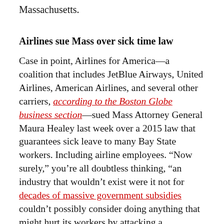Massachusetts.
Airlines sue Mass over sick time law
Case in point, Airlines for America—a coalition that includes JetBlue Airways, United Airlines, American Airlines, and several other carriers, according to the Boston Globe business section—sued Mass Attorney General Maura Healey last week over a 2015 law that guarantees sick leave to many Bay State workers. Including airline employees. “Now surely,” you’re all doubtless thinking, “an industry that wouldn’t exist were it not for decades of massive government subsidies couldn’t possibly consider doing anything that might hurt its workers by attacking a government program that helps them.” But no, the airlines are totally doing that. It’s what big corporations always do